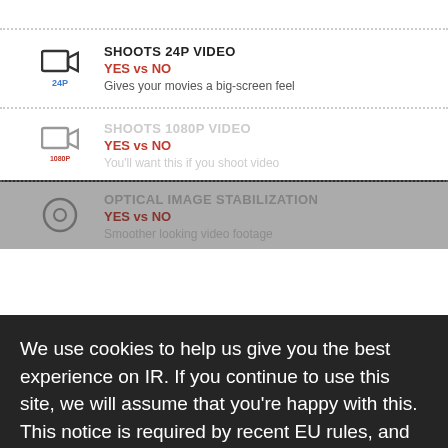SHOOTS 24P VIDEO
YES vs NO
Gives your movies a big-screen feel
SHOOTS 1080P VIDEO
YES vs NO
You'll want this if you shoot video
We use cookies to help us give you the best experience on IR. If you continue to use this site, we will assume that you're happy with this. This notice is required by recent EU rules, and IR is read globally, so we need to keep the bureaucrats off our case!
Learn more
SLOW MOTION VIDEOS
YES vs NO
Shoot slow motion videos
Got it!